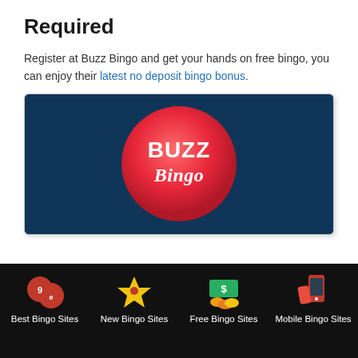Required
Register at Buzz Bingo and get your hands on free bingo, you can enjoy their latest no deposit bingo bonus.
[Figure (logo): Buzz Bingo logo — white text 'BUZZ Bingo' on a red circular badge against a dark navy blue background.]
[Figure (infographic): Footer navigation bar with four icons and labels: Best Bingo Sites (bingo balls), New Bingo Sites (crown), Free Bingo Sites (money/coins), Mobile Bingo Sites (phone with bingo card).]